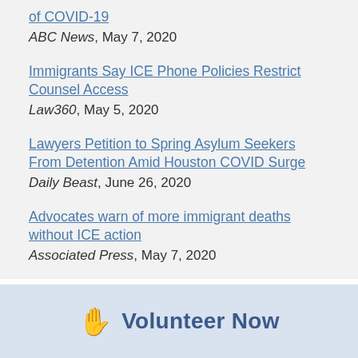of COVID-19 — ABC News, May 7, 2020
Immigrants Say ICE Phone Policies Restrict Counsel Access — Law360, May 5, 2020
Lawyers Petition to Spring Asylum Seekers From Detention Amid Houston COVID Surge — Daily Beast, June 26, 2020
Advocates warn of more immigrant deaths without ICE action — Associated Press, May 7, 2020
Volunteer Now